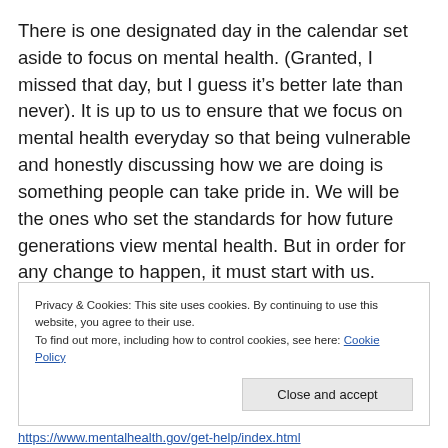There is one designated day in the calendar set aside to focus on mental health. (Granted, I missed that day, but I guess it's better late than never). It is up to us to ensure that we focus on mental health everyday so that being vulnerable and honestly discussing how we are doing is something people can take pride in. We will be the ones who set the standards for how future generations view mental health. But in order for any change to happen, it must start with us.
Privacy & Cookies: This site uses cookies. By continuing to use this website, you agree to their use. To find out more, including how to control cookies, see here: Cookie Policy
https://www.mentalhealth.gov/get-help/index.html